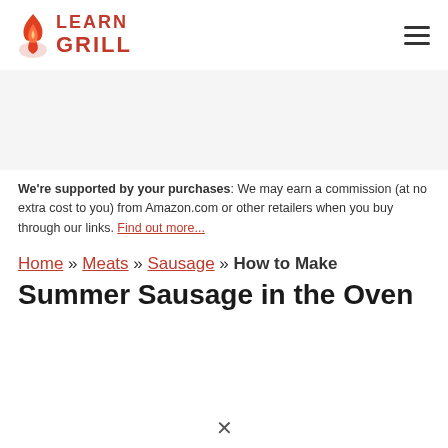LEARN GRILL
We're supported by your purchases: We may earn a commission (at no extra cost to you) from Amazon.com or other retailers when you buy through our links. Find out more...
Home » Meats » Sausage » How to Make Summer Sausage in the Oven